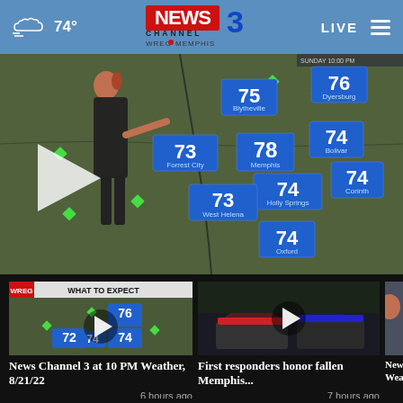74° — NEWS CHANNEL 3 WREG MEMPHIS — LIVE
[Figure (screenshot): Weather broadcast screenshot showing regional map with temperatures: Blytheville 75, Dyersburg 76, Forrest City 73, Memphis 78, Bolivar 74, Holly Springs 74, Corinth 74, West Helena 73, Oxford 74. Meteorologist standing in front of map. Play button overlay visible.]
[Figure (screenshot): Thumbnail for 'News Channel 3 at 10 PM Weather, 8/21/22' showing weather map with WHAT TO EXPECT banner, 6 hours ago]
News Channel 3 at 10 PM Weather, 8/21/22
6 hours ago
[Figure (screenshot): Thumbnail for 'First responders honor fallen Memphis...' showing emergency vehicles with lights, 7 hours ago]
First responders honor fallen Memphis...
7 hours ago
[Figure (screenshot): Partial thumbnail for News Channel weather segment, partially cropped]
News C... Weath...